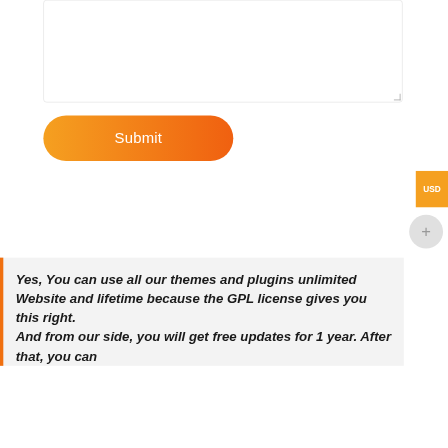[Figure (screenshot): A textarea input box with a resize handle in the bottom-right corner, shown partially at the top of the page]
[Figure (screenshot): An orange gradient Submit button with rounded pill shape]
[Figure (screenshot): An orange USD badge/tab on the right edge]
[Figure (screenshot): A light gray circular plus (+) button on the right edge]
Yes, You can use all our themes and plugins unlimited Website and lifetime because the GPL license gives you this right.
And from our side, you will get free updates for 1 year. After that, you can